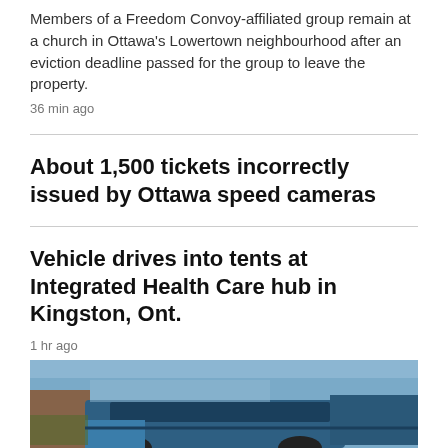Members of a Freedom Convoy-affiliated group remain at a church in Ottawa's Lowertown neighbourhood after an eviction deadline passed for the group to leave the property.
36 min ago
About 1,500 tickets incorrectly issued by Ottawa speed cameras
Vehicle drives into tents at Integrated Health Care hub in Kingston, Ont.
1 hr ago
WINDSOR >
[Figure (photo): Bottom portion of a news article photo showing a vehicle, appears to be outdoors. Blue vehicle visible.]